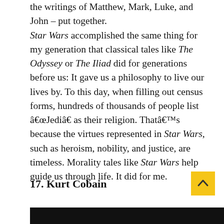the writings of Matthew, Mark, Luke, and John – put together. Star Wars accomplished the same thing for my generation that classical tales like The Odyssey or The Iliad did for generations before us: It gave us a philosophy to live our lives by. To this day, when filling out census forms, hundreds of thousands of people list â€œJediâ€ as their religion. Thatâ€™s because the virtues represented in Star Wars, such as heroism, nobility, and justice, are timeless. Morality tales like Star Wars help guide us through life. It did for me.
17. Kurt Cobain
[Figure (photo): Dark/black image at the bottom of the page, partially visible]